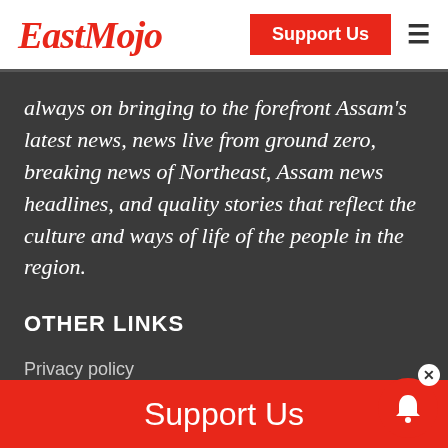EastMojo — Support Us
always on bringing to the forefront Assam's latest news, news live from ground zero, breaking news of Northeast, Assam news headlines, and quality stories that reflect the culture and ways of life of the people in the region.
OTHER LINKS
Privacy policy
Terms of Use
Refund Policy
Support Us